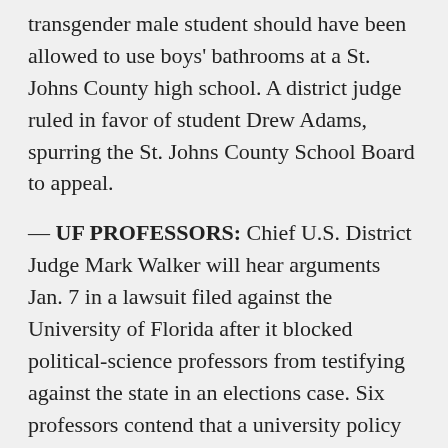transgender male student should have been allowed to use boys' bathrooms at a St. Johns County high school. A district judge ruled in favor of student Drew Adams, spurring the St. Johns County School Board to appeal.
— UF PROFESSORS: Chief U.S. District Judge Mark Walker will hear arguments Jan. 7 in a lawsuit filed against the University of Florida after it blocked political-science professors from testifying against the state in an elections case. Six professors contend that a university policy violates First Amendment rights. UF walked back the decision in the elections case, but the school has faced heavy scrutiny about the policy.
— VACCINE MANDATES: Attorney General Ashley Moody has gone to the 11th U.S. Circuit Court of Appeals after a district judge refused to block a Biden administration rule requiring health-care workers to be vaccinated against COVID-19. Moody, backed by Gov. Ron DeSantis, also is challenging a separate federal vaccination requirement for